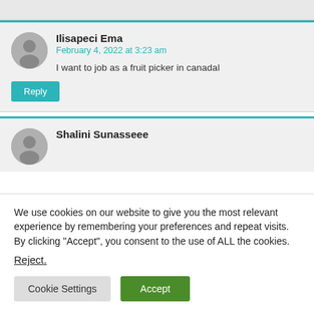Ilisapeci Ema
February 4, 2022 at 3:23 am
I want to job as a fruit picker in canadal
Shalini Sunasseee
We use cookies on our website to give you the most relevant experience by remembering your preferences and repeat visits. By clicking “Accept”, you consent to the use of ALL the cookies.
Reject.